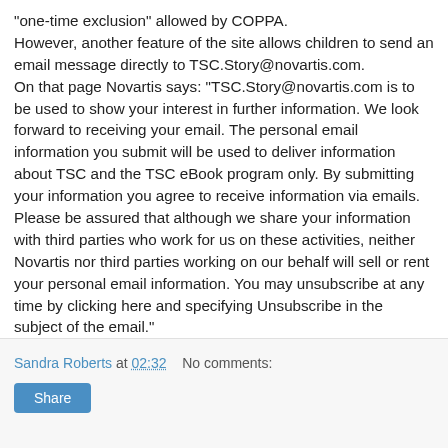"one-time exclusion" allowed by COPPA. However, another feature of the site allows children to send an email message directly to TSC.Story@novartis.com. On that page Novartis says: "TSC.Story@novartis.com is to be used to show your interest in further information. We look forward to receiving your email. The personal email information you submit will be used to deliver information about TSC and the TSC eBook program only. By submitting your information you agree to receive information via emails. Please be assured that although we share your information with third parties who work for us on these activities, neither Novartis nor third parties working on our behalf will sell or rent your personal email information. You may unsubscribe at any time by clicking here and specifying Unsubscribe in the subject of the email." This is clearly an attempt t read more..
Sandra Roberts at 02:32   No comments:
Share